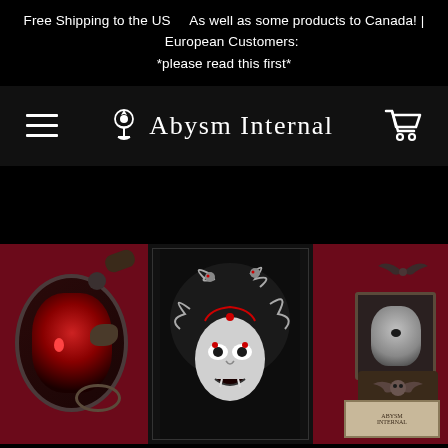Free Shipping to the US    As well as some products to Canada! |      European Customers: *please read this first*
[Figure (screenshot): Navigation bar with hamburger menu icon on the left, 'Abysm Internal' brand logo and name in gothic font in the center, and a shopping cart icon on the right, all on a dark background.]
[Figure (photo): Hero banner showing gothic merchandise on a dark red background: left panel shows a framed devil portrait artwork and small decorative items; center panel shows a black tapestry with a Medusa skull design featuring snakes; right panel shows various gothic decorative items including framed skull portrait, bat ornaments, and winged skull plaque.]